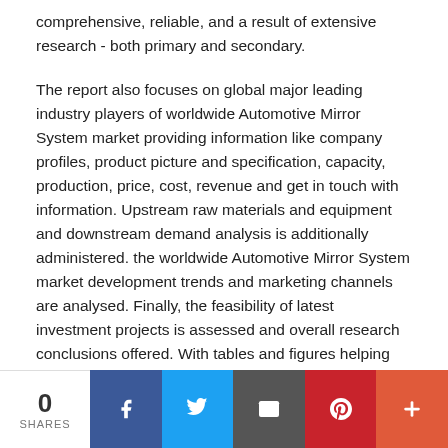comprehensive, reliable, and a result of extensive research - both primary and secondary.
The report also focuses on global major leading industry players of worldwide Automotive Mirror System market providing information like company profiles, product picture and specification, capacity, production, price, cost, revenue and get in touch with information. Upstream raw materials and equipment and downstream demand analysis is additionally administered. the worldwide Automotive Mirror System market development trends and marketing channels are analysed. Finally, the feasibility of latest investment projects is assessed and overall research conclusions offered. With tables and figures helping analyze
0 SHARES | Facebook | Twitter | Email | Pinterest | +